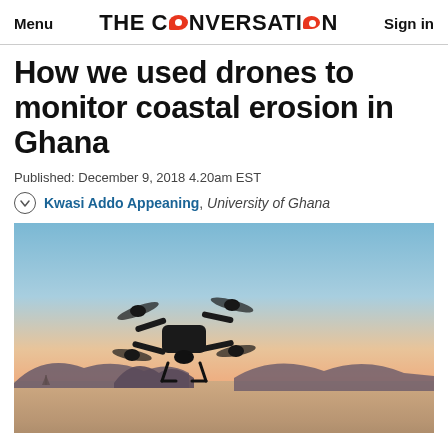Menu | THE CONVERSATION | Sign in
How we used drones to monitor coastal erosion in Ghana
Published: December 9, 2018 4.20am EST
Kwasi Addo Appeaning, University of Ghana
[Figure (photo): Silhouette of a quadcopter drone flying against a sunset sky over water, with mountains in the background. The sky is blue at the top fading to orange and peach near the horizon.]